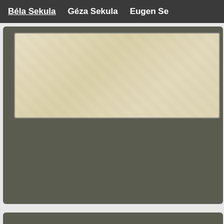Béla Sekula   Géza Sekula   Eugen Se…
[Figure (photo): Aged cream/beige envelope or stamp scan on a dark olive-gray card background]
Dominican Republic Forged Postmarks — 1903
In autumn 1903 the Deutsche Briefmarken-Zeitung so whole sets of the Dominican issue of February 25, 1 #144–150, Michel #101–107). Béla Szekula had bought up the remainders of this is a CDS reading "(SANTO DOMINGO (20 / ENE / 02) R issue by five weeks – were favor-cancellations a possession. Depite Béla's assertions they were oute a supplier in Geneva, and the envelopes used for th